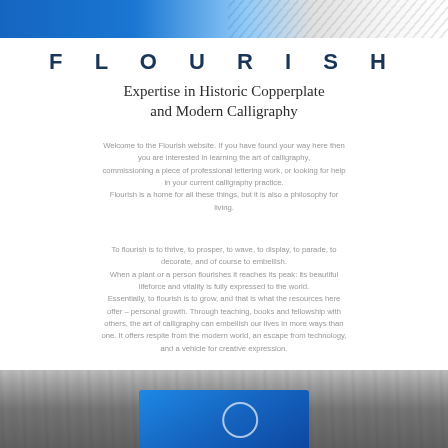[Figure (photo): Top banner image with blue calligraphy/flourish design on white and gray background]
FLOURISH
Expertise in Historic Copperplate and Modern Calligraphy
Welcome to the Flourish website. If you have found your way here then you are interested in learning the art of calligraphy, commissioning a piece of professional lettering work, or looking for help in your current calligraphy practice. Flourish is a home for all these things, but it is also a philosophy for living.
To flourish is to thrive, to prosper, to wave, to display, to parade, to decorate, and of course to embellish. When a plant or a person flourishes it reaches its peak: its beautiful lifeforce and vitality is fully expressed to the world. Essentially, to flourish is to grow, and that is what the resources here offer – personal growth. Through teaching, books and fellowship with others, the art of calligraphy can embellish our lives in more ways than one. It offers respite from the modern world, an escape from technology, and a vehicle for creative expression.
[Figure (photo): Bottom photo showing a blue book or box with calligraphy design on a wooden surface]